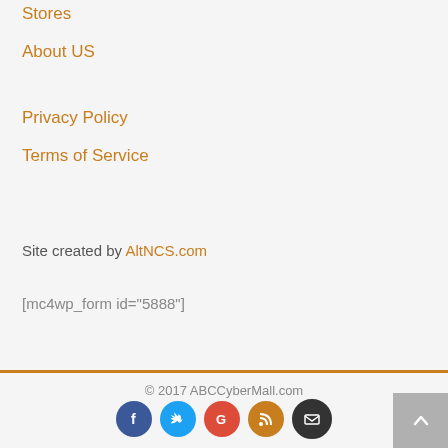Stores
About US
Privacy Policy
Terms of Service
Site created by AltNCS.com
[mc4wp_form id="5888"]
© 2017 ABCCyberMall.com